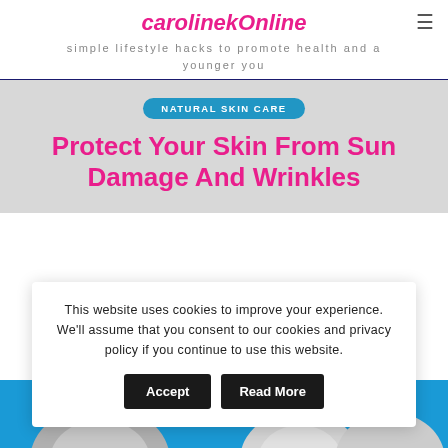carolinekOnline
simple lifestyle hacks to promote health and a younger you
NATURAL SKIN CARE
Protect Your Skin From Sun Damage And Wrinkles
This website uses cookies to improve your experience. We'll assume that you consent to our cookies and privacy policy if you continue to use this website.
[Figure (screenshot): Cookie consent overlay with Accept and Read More buttons over a lifestyle/health blog page]